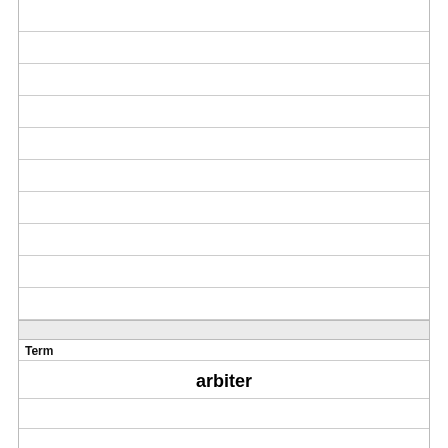Term
arbiter
Definition
one who can resolve a dispute, make a decision